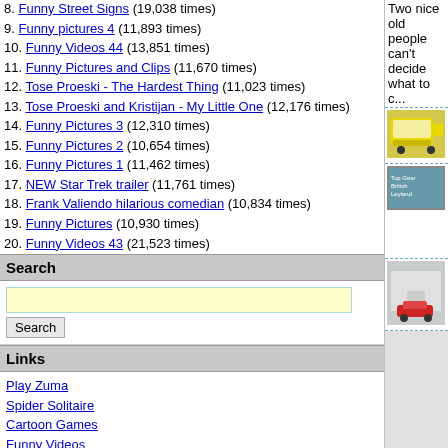8. Funny Street Signs (19,038 times)
9. Funny pictures 4 (11,893 times)
10. Funny Videos 44 (13,851 times)
11. Funny Pictures and Clips (11,670 times)
12. Tose Proeski - The Hardest Thing (11,023 times)
13. Tose Proeski and Kristijan - My Little One (12,176 times)
14. Funny Pictures 3 (12,310 times)
15. Funny Pictures 2 (10,654 times)
16. Funny Pictures 1 (11,462 times)
17. NEW Star Trek trailer (11,761 times)
18. Frank Valiendo hilarious comedian (10,834 times)
19. Funny Pictures (10,930 times)
20. Funny Videos 43 (21,523 times)
Search
Links
Play Zuma
Spider Solitaire
Cartoon Games
Funny Videos
Two nice old people can't decide what to c...
[Figure (photo): Yellow van/vehicle photo]
[Figure (photo): Top Gear British Leyland Part 3-4 thumbnail]
Top Gear British Leyland Part 3-4
[Figure (photo): Kia Spectra - red car photo]
Kia Spectra